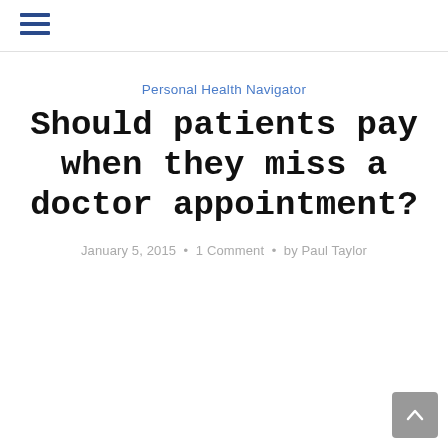≡
Personal Health Navigator
Should patients pay when they miss a doctor appointment?
January 5, 2015 • 1 Comment • by Paul Taylor